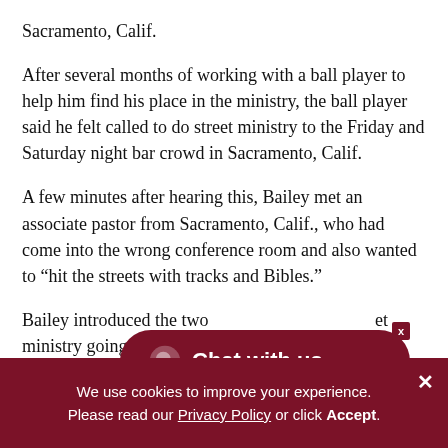Sacramento, Calif.
After several months of working with a ball player to help him find his place in the ministry, the ball player said he felt called to do street ministry to the Friday and Saturday night bar crowd in Sacramento, Calif.
A few minutes after hearing this, Bailey met an associate pastor from Sacramento, Calif., who had come into the wrong conference room and also wanted to “hit the streets with tracks and Bibles.”
Bailey introduced the two [obscured by chat widget] et ministry going in Sacram[ento]
[Figure (screenshot): Dark red rounded button overlay reading 'Chat with us' with a speech bubble icon and an X close button in the top-right corner]
We use cookies to improve your experience. Please read our Privacy Policy or click Accept.